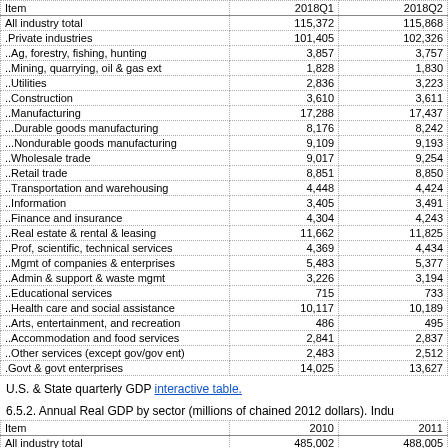| Item | 2018Q1 | 2018Q2 |
| --- | --- | --- |
| All industry total | 115,372 | 115,868 |
| .Private industries | 101,405 | 102,326 |
| ..Ag, forestry, fishing, hunting | 3,857 | 3,757 |
| ..Mining, quarrying, oil & gas ext | 1,828 | 1,830 |
| ..Utilities | 2,836 | 3,223 |
| ..Construction | 3,610 | 3,611 |
| ..Manufacturing | 17,288 | 17,437 |
| ...Durable goods manufacturing | 8,176 | 8,242 |
| ...Nondurable goods manufacturing | 9,109 | 9,193 |
| ..Wholesale trade | 9,017 | 9,254 |
| ..Retail trade | 8,851 | 8,850 |
| ..Transportation and warehousing | 4,448 | 4,424 |
| ..Information | 3,405 | 3,491 |
| ..Finance and insurance | 4,304 | 4,243 |
| ..Real estate & rental & leasing | 11,662 | 11,825 |
| ..Prof, scientific, technical services | 4,369 | 4,434 |
| ..Mgmt of companies & enterprises | 5,483 | 5,377 |
| ..Admin & support & waste mgmt | 3,226 | 3,194 |
| ..Educational services | 715 | 733 |
| ..Health care and social assistance | 10,117 | 10,189 |
| ..Arts, entertainment, and recreation | 486 | 495 |
| ..Accommodation and food services | 2,841 | 2,837 |
| ..Other services (except gov/gov ent) | 2,483 | 2,512 |
| .Govt & govt enterprises | 14,025 | 13,627 |
U.S. & State quarterly GDP interactive table.
6.5.2. Annual Real GDP by sector (millions of chained 2012 dollars). Indu
| Item | 2010 | 2011 |
| --- | --- | --- |
| All industry total | 485,002 | 488,005 |